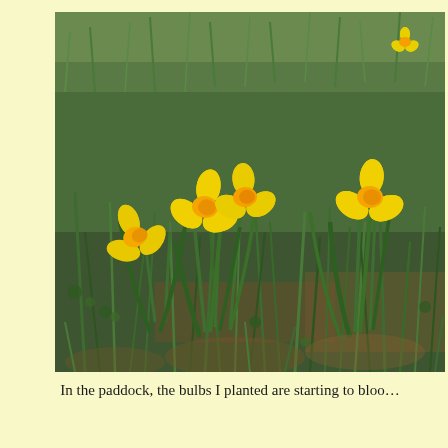[Figure (photo): Photograph of yellow daffodil flowers blooming in a green grass paddock. Several narcissus flowers with yellow petals and trumpet-shaped coronas are visible among green grass blades and ground cover plants.]
In the paddock, the bulbs I planted are starting to bloom